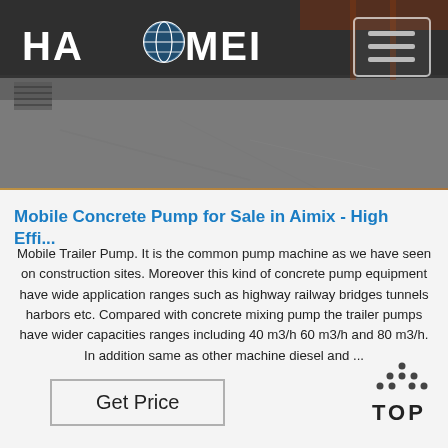[Figure (screenshot): Website header with Haomei logo on dark background with concrete surface photo]
Mobile Concrete Pump for Sale in Aimix - High Effi...
Mobile Trailer Pump. It is the common pump machine as we have seen on construction sites. Moreover this kind of concrete pump equipment have wide application ranges such as highway railway bridges tunnels harbors etc. Compared with concrete mixing pump the trailer pumps have wider capacities ranges including 40 m3/h 60 m3/h and 80 m3/h. In addition same as other machine diesel and ...
[Figure (logo): TOP back-to-top icon with dots forming an upward arrow above the word TOP]
Get Price